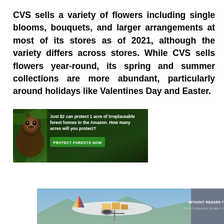CVS sells a variety of flowers including single blooms, bouquets, and larger arrangements at most of its stores as of 2021, although the variety differs across stores. While CVS sells flowers year-round, its spring and summer collections are more abundant, particularly around holidays like Valentines Day and Easter.
[Figure (photo): Advertisement banner for Amazon forest protection. Dark green forest background with monkey image on left. Text reads: 'Just $2 can protect 1 acre of irreplaceable forest homes in the Amazon. How many acres will you protect?' with a green 'PROTECT FORESTS NOW' button.]
[Figure (photo): Advertisement banner showing cargo aircraft being loaded with packages at an airport. Southwest Airlines plane visible. Gray overlay on right side reading 'WITHOUT REGARD TO' with smaller text below.]